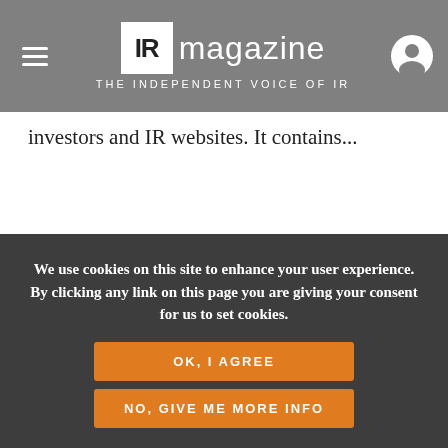IR magazine — THE INDEPENDENT VOICE OF IR
investors and IR websites. It contains...
FROM OUR SPONSORS
[Figure (logo): Notified from Intrado logo]
We use cookies on this site to enhance your user experience. By clicking any link on this page you are giving your consent for us to set cookies.
OK, I AGREE
NO, GIVE ME MORE INFO